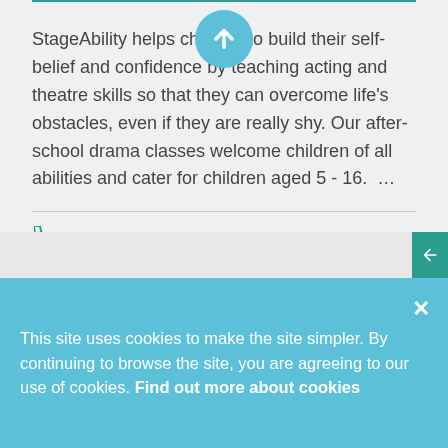StageAbility helps children to build their self-belief and confidence by teaching acting and theatre skills so that they can overcome life's obstacles, even if they are really shy. Our after-school drama classes welcome children of all abilities and cater for children aged 5 - 16.  …
📞 0118 933 3791
✉ jackie@stageability.co.uk
🌐 www.stageability.co.uk
Add to My Shortlist
This site uses cookies to make the site simpler. By continuing to browse the site, you are agreeing to our use of cookies. Find out more about cookies